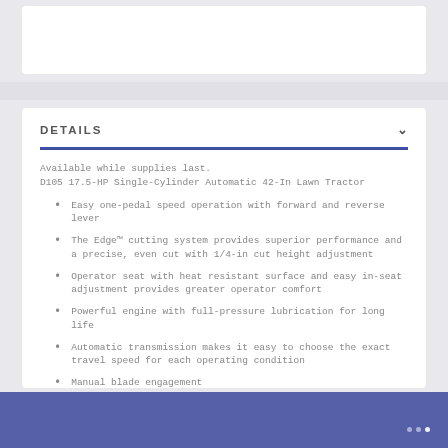DETAILS
Available while supplies last.
D105 17.5-HP Single-Cylinder Automatic 42-In Lawn Tractor
Easy one-pedal speed operation with forward and reverse lever
The Edge™ cutting system provides superior performance and a precise, even cut with 1/4-in cut height adjustment
Operator seat with heat resistant surface and easy in-seat adjustment provides greater operator comfort
Powerful engine with full-pressure lubrication for long life
Automatic transmission makes it easy to choose the exact travel speed for each operating condition
Manual blade engagement